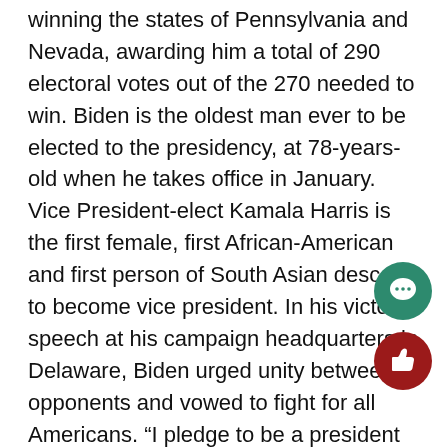winning the states of Pennsylvania and Nevada, awarding him a total of 290 electoral votes out of the 270 needed to win. Biden is the oldest man ever to be elected to the presidency, at 78-years-old when he takes office in January. Vice President-elect Kamala Harris is the first female, first African-American and first person of South Asian descent to become vice president. In his victory speech at his campaign headquarters in Delaware, Biden urged unity between opponents and vowed to fight for all Americans. "I pledge to be a president who seeks not to divide but unify, who doesn’t see red states and blue states, only sees the United States, and work(s) with all my heart, with the confidence of the whole people..."
“For all those of you who voted for President Trump, understand the disappointment tonight. I’ve lost a couple of times myself. But now, let’s give each other a chance.” Biden said. “It’s time to put away the harsh